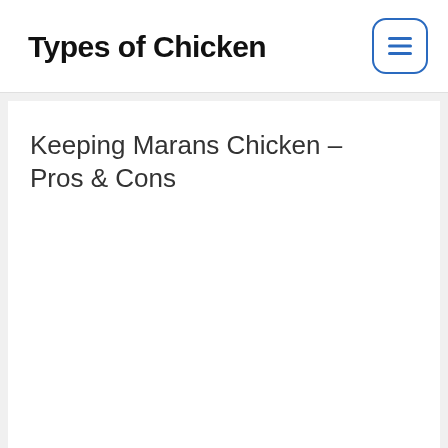Types of Chicken
Keeping Marans Chicken – Pros & Cons